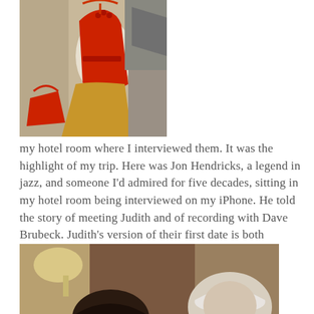[Figure (photo): A red dress on a mannequin hanger with red accessories, photographed in what appears to be a store or room setting]
my hotel room where I interviewed them. It was the highlight of my trip. Here was Jon Hendricks, a legend in jazz, and someone I'd admired for five decades, sitting in my hotel room being interviewed on my iPhone. He told the story of meeting Judith and of recording with Dave Brubeck. Judith's version of their first date is both touching and hilarious.
[Figure (photo): Two people photographed in what appears to be a hotel room or indoor setting — partially cropped at the bottom of the page]